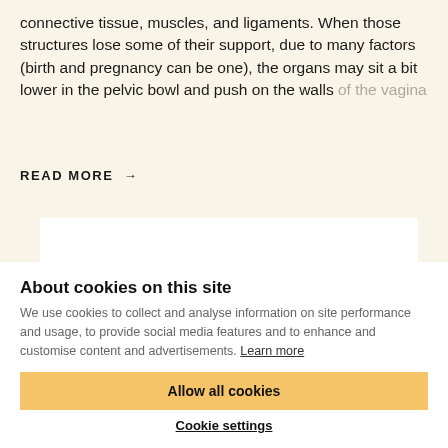connective tissue, muscles, and ligaments. When those structures lose some of their support, due to many factors (birth and pregnancy can be one), the organs may sit a bit lower in the pelvic bowl and push on the walls of the vagina
READ MORE →
About cookies on this site
We use cookies to collect and analyse information on site performance and usage, to provide social media features and to enhance and customise content and advertisements. Learn more
Allow all cookies
Cookie settings